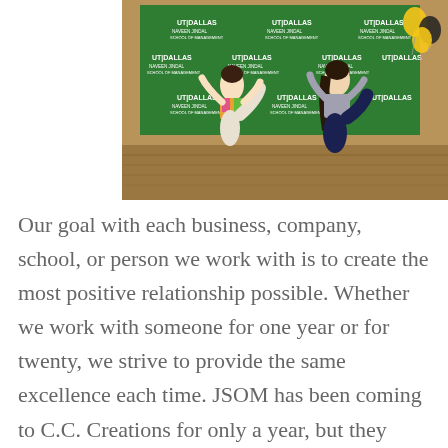[Figure (photo): Two young women in colorful outfits dancing in front of a green UT Dallas Naveen Jindal School of Management step-and-repeat banner, with gold and black balloons on the right side. Wooden floor visible beneath them.]
Our goal with each business, company, school, or person we work with is to create the most positive relationship possible. Whether we work with someone for one year or for twenty, we strive to provide the same excellence each time. JSOM has been coming to C.C. Creations for only a year, but they